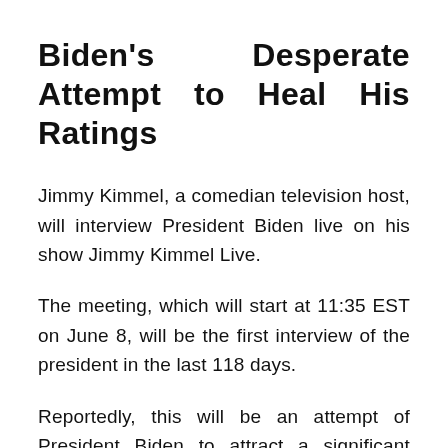Biden's Desperate Attempt to Heal His Ratings
Jimmy Kimmel, a comedian television host, will interview President Biden live on his show Jimmy Kimmel Live.
The meeting, which will start at 11:35 EST on June 8, will be the first interview of the president in the last 118 days.
Reportedly, this will be an attempt of President Biden to attract a significant base of emotional